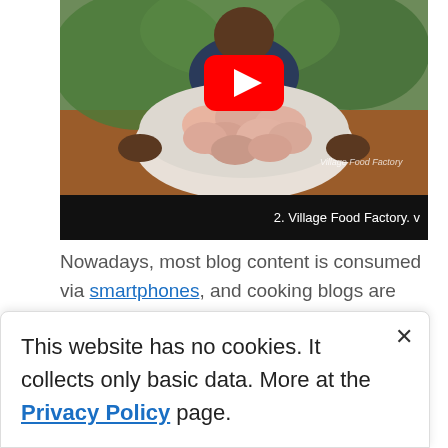[Figure (screenshot): YouTube video thumbnail showing a man holding a large bowl of raw chicken pieces outdoors on reddish dirt ground with greenery in background. A large red YouTube play button is overlaid. Video bar at bottom shows title '2. Village Food Factory. v']
Nowadays, most blog content is consumed via smartphones, and cooking blogs are one of the most consumed, especially by millennials who prefer to do their own cooking.
Surveys reveal that a large number of Internet users
This website has no cookies. It collects only basic data. More at the Privacy Policy page.